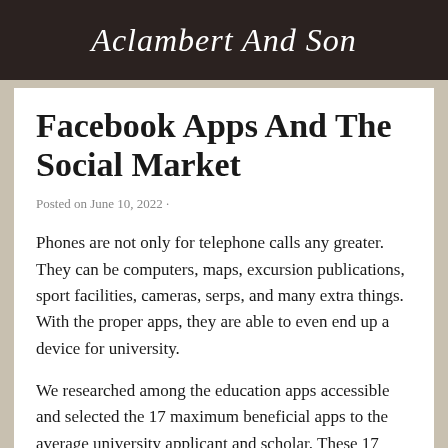Aclambert And Son
Facebook Apps And The Social Market
Posted on June 10, 2022 ·
Phones are not only for telephone calls any greater. They can be computers, maps, excursion publications, sport facilities, cameras, serps, and many extra things. With the proper apps, they are able to even end up a device for university.
We researched among the education apps accessible and selected the 17 maximum beneficial apps to the average university applicant and scholar. These 17 apps assist you to with the university search, with